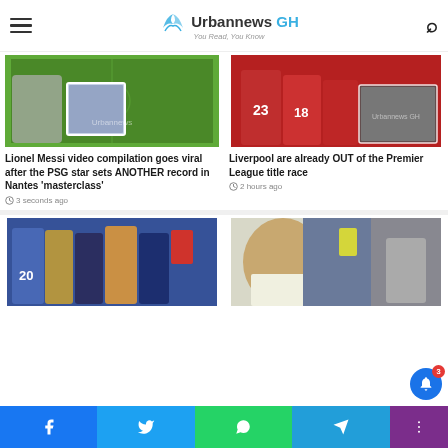Urbannews GH — You Read, You Know
[Figure (photo): Lionel Messi video compilation screenshot from football match]
Lionel Messi video compilation goes viral after the PSG star sets ANOTHER record in Nantes 'masterclass'
3 seconds ago
[Figure (photo): Liverpool players in red jerseys during Premier League match]
Liverpool are already OUT of the Premier League title race
2 hours ago
[Figure (photo): West Ham players confrontation with referee on pitch]
[Figure (photo): Richarlison and referee red card incident collage]
Facebook | Twitter | WhatsApp | Telegram | More